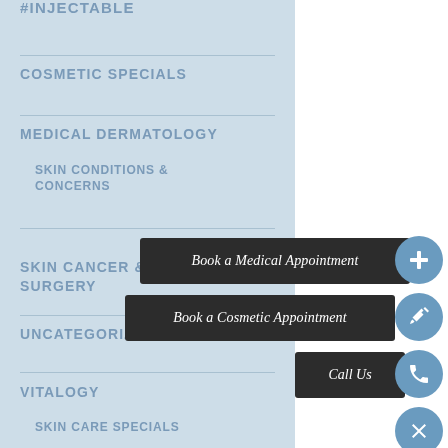COSMETIC SPECIALS
MEDICAL DERMATOLOGY
SKIN CONDITIONS & CONCERNS
SKIN CANCER & MOHS SURGERY
UNCATEGORIZED
VITALOGY
SKIN CARE SPECIALS
Book a Medical Appointment
Book a Cosmetic Appointment
Call Us